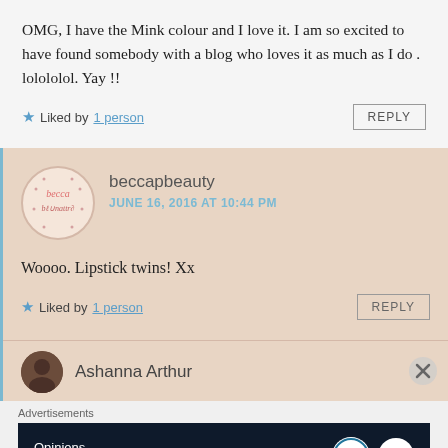OMG, I have the Mink colour and I love it. I am so excited to have found somebody with a blog who loves it as much as I do . lolololol. Yay !!
★ Liked by 1 person
beccapbeauty
JUNE 16, 2016 AT 10:44 PM
Woooo. Lipstick twins! Xx
★ Liked by 1 person
Ashanna Arthur
Advertisements
Opinions. We all have them!